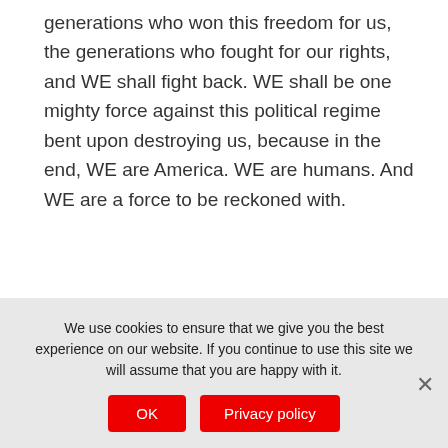generations who won this freedom for us, the generations who fought for our rights, and WE shall fight back. WE shall be one mighty force against this political regime bent upon destroying us, because in the end, WE are America. WE are humans. And WE are a force to be reckoned with.
Share this:
[Figure (other): Social share icons: Facebook (f), Twitter (bird), LinkedIn (in), Pinterest (P), plus (+)]
We use cookies to ensure that we give you the best experience on our website. If you continue to use this site we will assume that you are happy with it.